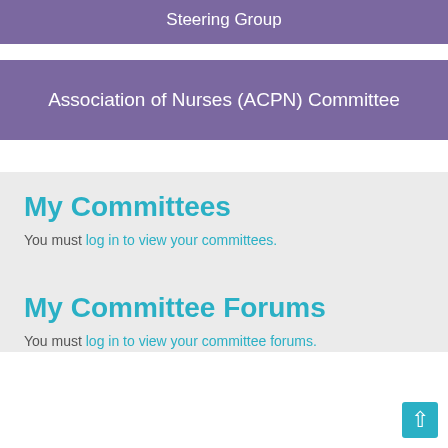Steering Group
Association of Nurses (ACPN) Committee
My Committees
You must log in to view your committees.
My Committee Forums
You must log in to view your committee forums.